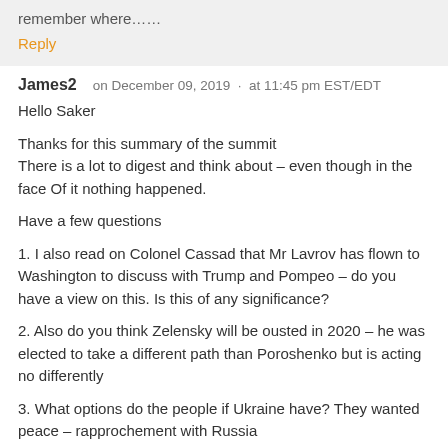remember where……
Reply
James2   on December 09, 2019  ·  at 11:45 pm EST/EDT
Hello Saker
Thanks for this summary of the summit
There is a lot to digest and think about – even though in the face Of it nothing happened.
Have a few questions
1. I also read on Colonel Cassad that Mr Lavrov has flown to Washington to discuss with Trump and Pompeo – do you have a view on this. Is this of any significance?
2. Also do you think Zelensky will be ousted in 2020 – he was elected to take a different path than Poroshenko but is acting no differently
3. What options do the people if Ukraine have? They wanted peace – rapprochement with Russia